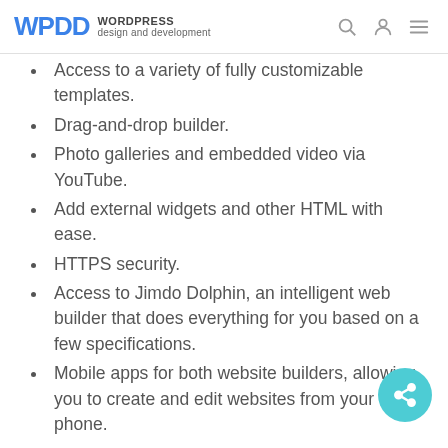WPDD WORDPRESS design and development
Access to a variety of fully customizable templates.
Drag-and-drop builder.
Photo galleries and embedded video via YouTube.
Add external widgets and other HTML with ease.
HTTPS security.
Access to Jimdo Dolphin, an intelligent web builder that does everything for you based on a few specifications.
Mobile apps for both website builders, allowing you to create and edit websites from your phone.